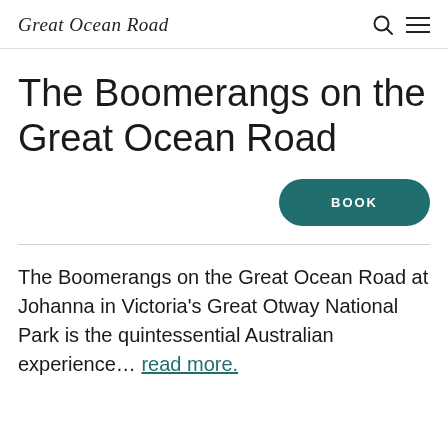Great Ocean Road
The Boomerangs on the Great Ocean Road
BOOK
The Boomerangs on the Great Ocean Road at Johanna in Victoria's Great Otway National Park is the quintessential Australian experience... read more.